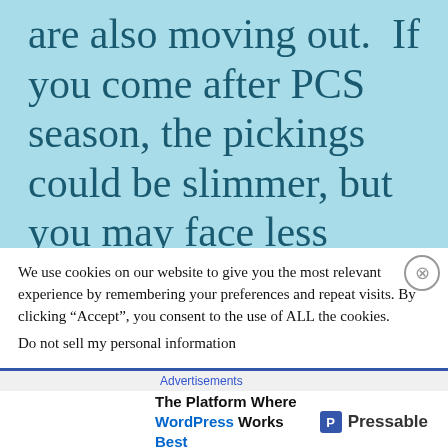are also moving out.  If you come after PCS season, the pickings could be slimmer, but you may face less
We use cookies on our website to give you the most relevant experience by remembering your preferences and repeat visits. By clicking “Accept”, you consent to the use of ALL the cookies.
Do not sell my personal information
Advertisements
[Figure (screenshot): Advertisement banner: The Platform Where WordPress Works Best — Pressable logo]